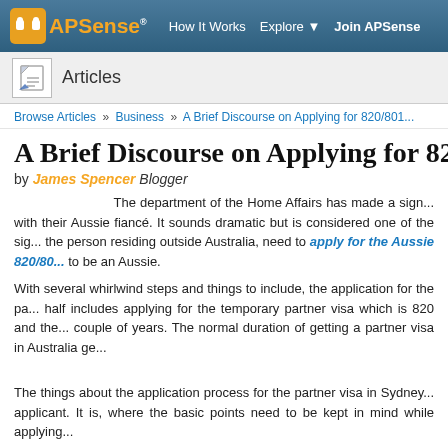APSense | How It Works | Explore | Join APSense
Articles
Browse Articles » Business » A Brief Discourse on Applying for 820/801...
A Brief Discourse on Applying for 820
by James Spencer Blogger
The department of the Home Affairs has made a sign... with their Aussie fiancé. It sounds dramatic but is considered one of the sig... the person residing outside Australia, need to apply for the Aussie 820/80... to be an Aussie.
With several whirlwind steps and things to include, the application for the pa... half includes applying for the temporary partner visa which is 820 and the... couple of years. The normal duration of getting a partner visa in Australia ge...
The things about the application process for the partner visa in Sydney... applicant. It is, where the basic points need to be kept in mind while applying...